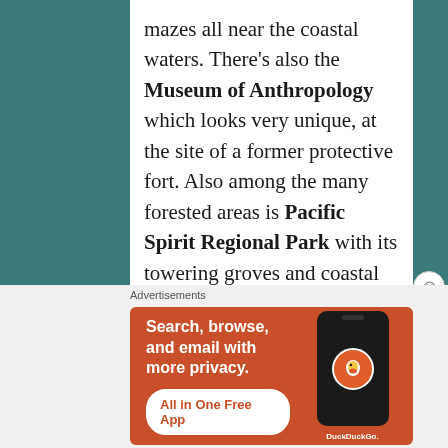mazes all near the coastal waters. There's also the Museum of Anthropology which looks very unique, at the site of a former protective fort. Also among the many forested areas is Pacific Spirit Regional Park with its towering groves and coastal trails.
9.  Because of Robson Street &
[Figure (screenshot): DuckDuckGo advertisement banner with orange background. Shows phone mockup with DuckDuckGo logo. Text: 'Search, browse, and email with more privacy. All in One Free App'. Labeled 'Advertisements'.]